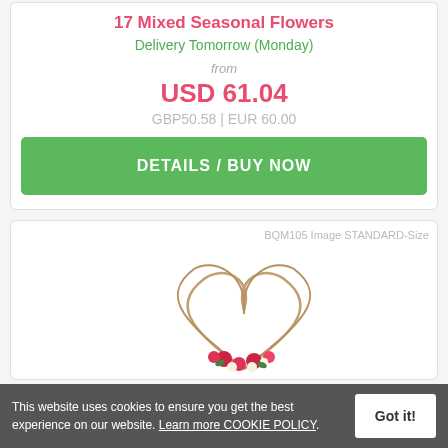17 Mixed Seasonal Flowers
Delivery Tomorrow (Monday)
from
USD 61.04
GBP50.58 | EUR 60.00
DETAILS / BUY NOW
BQM105 Image STANDARD-Size
[Figure (photo): Flower bouquet arrangement with curved branches forming a heart shape and red and white flowers at the base]
This website uses cookies to ensure you get the best experience on our website. Learn more COOKIE POLICY.
Got it!